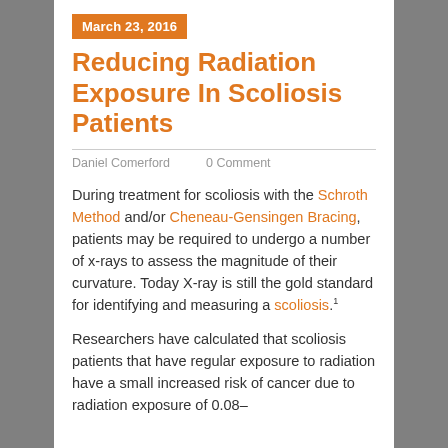March 23, 2016
Reducing Radiation Exposure In Scoliosis Patients
Daniel Comerford    0 Comment
During treatment for scoliosis with the Schroth Method and/or Cheneau-Gensingen Bracing, patients may be required to undergo a number of x-rays to assess the magnitude of their curvature. Today X-ray is still the gold standard for identifying and measuring a scoliosis.¹
Researchers have calculated that scoliosis patients that have regular exposure to radiation have a small increased risk of cancer due to radiation exposure of 0.08–